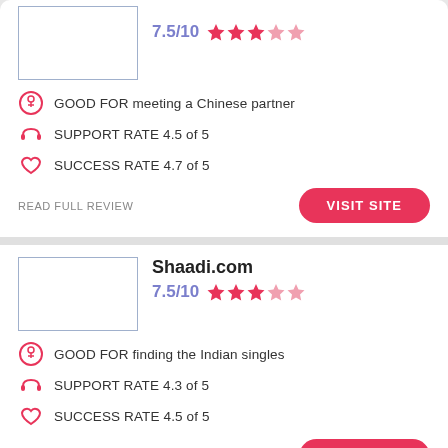7.5/10 ★★★★☆ GOOD FOR meeting a Chinese partner | SUPPORT RATE 4.5 of 5 | SUCCESS RATE 4.7 of 5
READ FULL REVIEW
VISIT SITE
Shaadi.com
7.5/10 ★★★☆☆ GOOD FOR finding the Indian singles | SUPPORT RATE 4.3 of 5 | SUCCESS RATE 4.5 of 5
READ FULL REVIEW
VISIT SITE